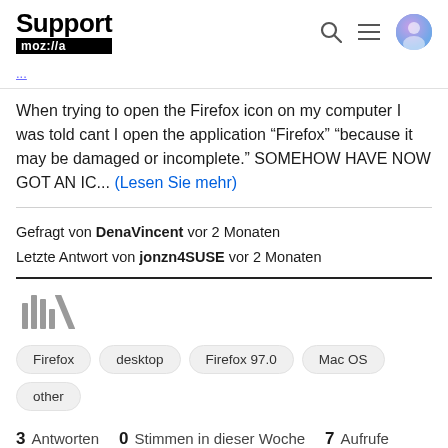Support mozilla
When trying to open the Firefox icon on my computer I was told cant I open the application “Firefox” “because it may be damaged or incomplete.” SOMEHOW HAVE NOW GOT AN IC... (Lesen Sie mehr)
Gefragt von DenaVincent vor 2 Monaten
Letzte Antwort von jonzn4SUSE vor 2 Monaten
[Figure (illustration): Archive/library icon made of vertical lines of varying heights]
Firefox
desktop
Firefox 97.0
Mac OS
other
3 Antworten  0 Stimmen in dieser Woche  7 Aufrufe